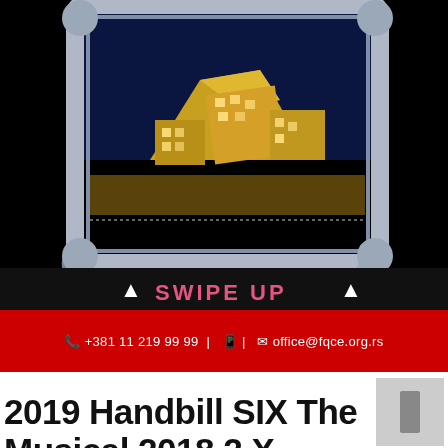[Figure (photo): Photograph of a modern deconstructivist building at night, displayed inside an ornate silver decorative frame, on a black background. Below the photo is a 'SWIPE UP' call-to-action with pink text and white arrows.]
📞 +381 11 219 99 99 |   📱 |   ✉ office@fqce.org.rs
2019 Handbill SIX The Musical 2018 2 X Different Flyer